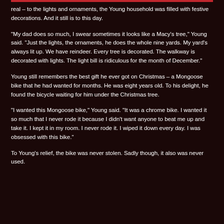real – to the lights and ornaments, the Young household was filled with festive decorations. And it still is to this day.
“My dad does so much, I swear sometimes it looks like a Macy’s tree,” Young said. “Just the lights, the ornaments, he does the whole nine yards. My yard’s always lit up. We have reindeer. Every tree is decorated. The walkway is decorated with lights. The light bill is ridiculous for the month of December.”
Young still remembers the best gift he ever got on Christmas – a Mongoose bike that he had wanted for months. He was eight years old. To his delight, he found the bicycle waiting for him under the Christmas tree.
“I wanted this Mongoose bike,” Young said. “It was a chrome bike. I wanted it so much that I never rode it because I didn’t want anyone to beat me up and take it. I kept it in my room. I never rode it. I wiped it down every day. I was obsessed with this bike.”
To Young’s relief, the bike was never stolen. Sadly though, it also was never used.